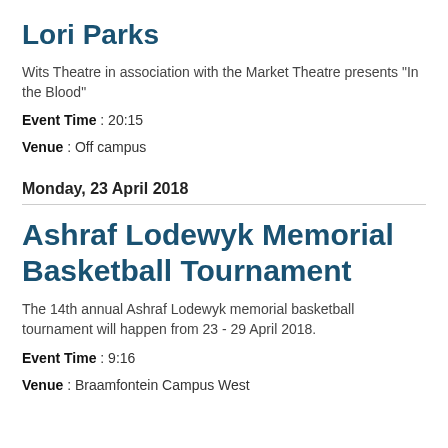Lori Parks
Wits Theatre in association with the Market Theatre presents "In the Blood"
Event Time : 20:15
Venue : Off campus
Monday, 23 April 2018
Ashraf Lodewyk Memorial Basketball Tournament
The 14th annual Ashraf Lodewyk memorial basketball tournament will happen from 23 - 29 April 2018.
Event Time : 9:16
Venue : Braamfontein Campus West